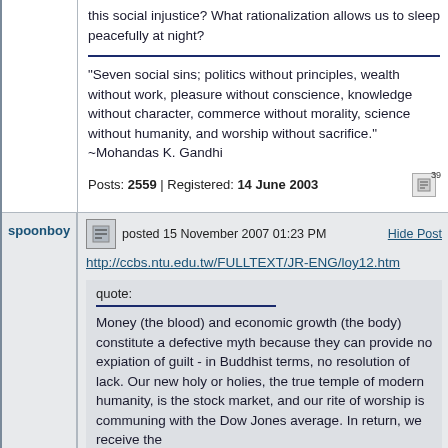this social injustice? What rationalization allows us to sleep peacefully at night?
"Seven social sins; politics without principles, wealth without work, pleasure without conscience, knowledge without character, commerce without morality, science without humanity, and worship without sacrifice." ~Mohandas K. Gandhi
Posts: 2559 | Registered: 14 June 2003
spoonboy
posted 15 November 2007 01:23 PM
Hide Post
http://ccbs.ntu.edu.tw/FULLTEXT/JR-ENG/loy12.htm
quote:
Money (the blood) and economic growth (the body) constitute a defective myth because they can provide no expiation of guilt - in Buddhist terms, no resolution of lack. Our new holy or holies, the true temple of modern humanity, is the stock market, and our rite of worship is communing with the Dow Jones average. In return, we receive the